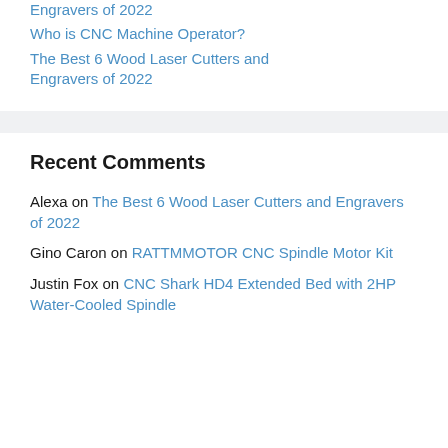Engravers of 2022
Who is CNC Machine Operator?
The Best 6 Wood Laser Cutters and Engravers of 2022
Recent Comments
Alexa on The Best 6 Wood Laser Cutters and Engravers of 2022
Gino Caron on RATTMMOTOR CNC Spindle Motor Kit
Justin Fox on CNC Shark HD4 Extended Bed with 2HP Water-Cooled Spindle